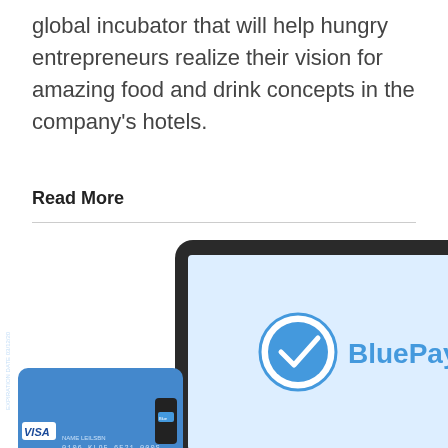global incubator that will help hungry entrepreneurs realize their vision for amazing food and drink concepts in the company's hotels.
Read More
[Figure (photo): BluePay payment processing marketing image showing a tablet with the BluePay logo, a smartphone, two blue Visa credit cards with card readers, and a small app icon in the lower right corner.]